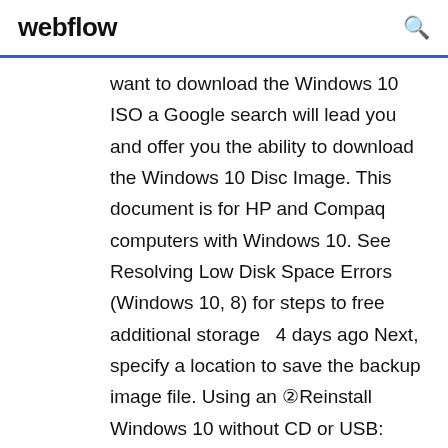webflow
want to download the Windows 10 ISO a Google search will lead you and offer you the ability to download the Windows 10 Disc Image. This document is for HP and Compaq computers with Windows 10. See Resolving Low Disk Space Errors (Windows 10, 8) for steps to free additional storage  4 days ago Next, specify a location to save the backup image file. Using an ②Reinstall Windows 10 without CD or USB: Directly from ISO File. Microsoft comes with a ISO file. Step 1: Download the media creation tool from Microsoft. 13 Nov 2019 How to Download Windows 10 1909 ISO File Directly from Website redirected to Windows 10 Disc Image (ISO file) download page. Tip Live view